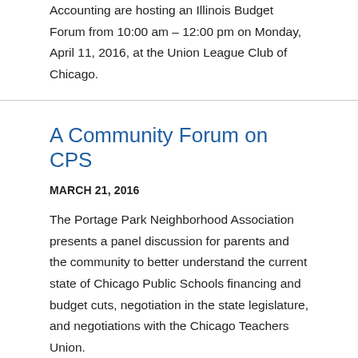Accounting are hosting an Illinois Budget Forum from 10:00 am – 12:00 pm on Monday, April 11, 2016, at the Union League Club of Chicago.
A Community Forum on CPS
MARCH 21, 2016
The Portage Park Neighborhood Association presents a panel discussion for parents and the community to better understand the current state of Chicago Public Schools financing and budget cuts, negotiation in the state legislature, and negotiations with the Chicago Teachers Union.
CTBA Budget Director Bobby Otter Talks with WBEZ!